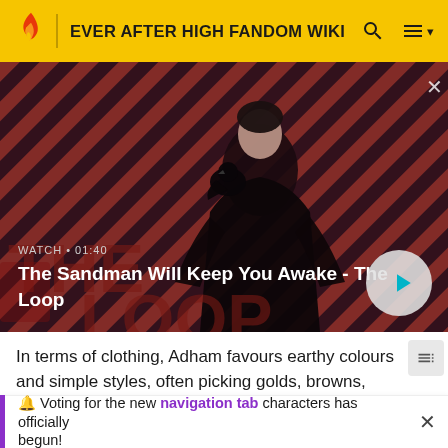EVER AFTER HIGH FANDOM WIKI
[Figure (screenshot): Video thumbnail showing a dark-cloaked figure with a raven on the shoulder against a red and black diagonal striped background. Title reads 'The Sandman Will Keep You Awake - The Loop'. Duration shown as WATCH • 01:40. A circular play button is visible on the right.]
In terms of clothing, Adham favours earthy colours and simple styles, often picking golds, browns, whites, and
🔔 Voting for the new navigation tab characters has officially begun!